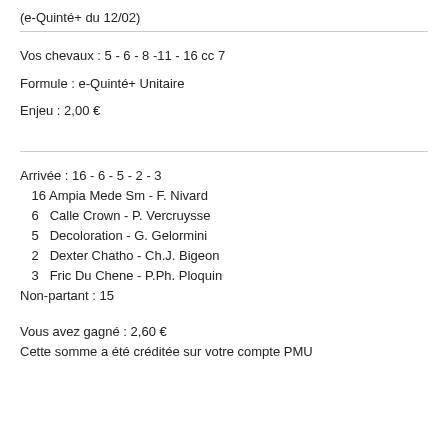(e-Quinté+ du 12/02)
Vos chevaux : 5 - 6 - 8 -11 - 16 cc 7
Formule : e-Quinté+ Unitaire
Enjeu : 2,00 €
Arrivée : 16 - 6 - 5 - 2 - 3
16 Ampia Mede Sm - F. Nivard
 6  Calle Crown - P. Vercruysse
 5  Decoloration - G. Gelormini
 2  Dexter Chatho - Ch.J. Bigeon
 3  Fric Du Chene - P.Ph. Ploquin
Non-partant : 15
Vous avez gagné : 2,60 €
Cette somme a été créditée sur votre compte PMU